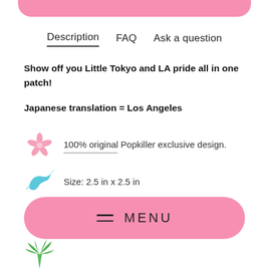Description | FAQ | Ask a question
Show off you Little Tokyo and LA pride all in one patch!
Japanese translation = Los Angeles
100% original Popkiller exclusive design.
Size: 2.5 in x 2.5 in
MENU